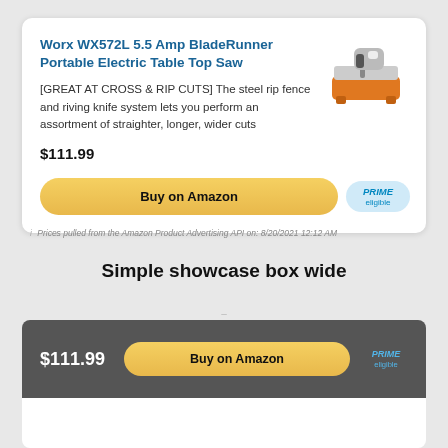Worx WX572L 5.5 Amp BladeRunner Portable Electric Table Top Saw
[GREAT AT CROSS & RIP CUTS] The steel rip fence and riving knife system lets you perform an assortment of straighter, longer, wider cuts
$111.99
[Figure (photo): Orange and grey Worx BladeRunner portable table saw]
Buy on Amazon
PRIME eligible
i  Prices pulled from the Amazon Product Advertising API on: 8/20/2021 12:12 AM
Simple showcase box wide
$111.99
Buy on Amazon
PRIME eligible